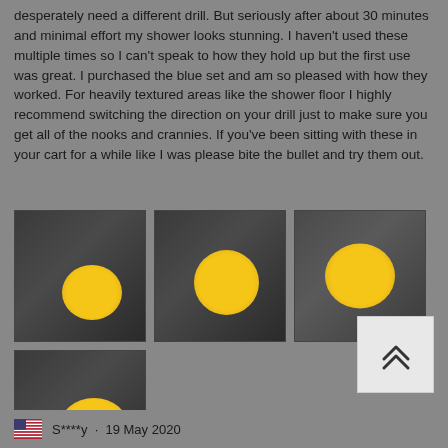desperately need a different drill. But seriously after about 30 minutes and minimal effort my shower looks stunning. I haven't used these multiple times so I can't speak to how they hold up but the first use was great. I purchased the blue set and am so pleased with how they worked. For heavily textured areas like the shower floor I highly recommend switching the direction on your drill just to make sure you get all of the nooks and crannies. If you've been sitting with these in your cart for a while like I was please bite the bullet and try them out.
[Figure (photo): Four photos of yellow drill brush attachments being used on a textured shower floor surface]
S****y · 19 May 2020